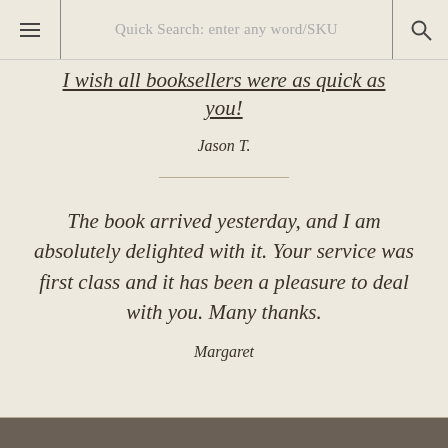Quick Search: enter any word/SKU
I wish all booksellers were as quick as you!
Jason T.
The book arrived yesterday, and I am absolutely delighted with it. Your service was first class and it has been a pleasure to deal with you. Many thanks.
Margaret